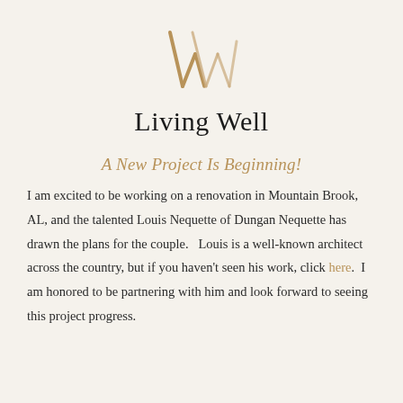[Figure (logo): Stylized double-W monogram logo in warm gold/tan color]
Living Well
A New Project Is Beginning!
I am excited to be working on a renovation in Mountain Brook, AL, and the talented Louis Nequette of Dungan Nequette has drawn the plans for the couple.   Louis is a well-known architect across the country, but if you haven't seen his work, click here.  I am honored to be partnering with him and look forward to seeing this project progress.